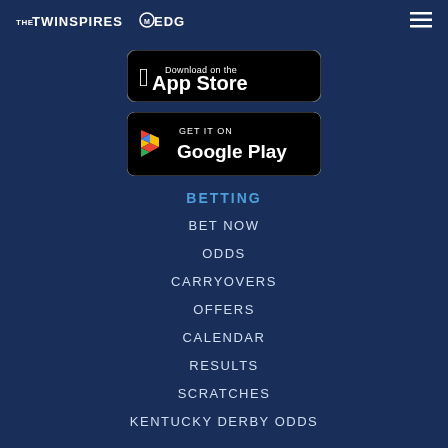THE TWINSPIRES EDGE
[Figure (screenshot): App Store download button - black rounded rectangle with Apple logo and 'App Store' text]
[Figure (screenshot): Google Play download button - black rounded rectangle with Google Play triangle logo and 'GET IT ON Google Play' text]
BETTING
BET NOW
ODDS
CARRYOVERS
OFFERS
CALENDAR
RESULTS
SCRATCHES
KENTUCKY DERBY ODDS